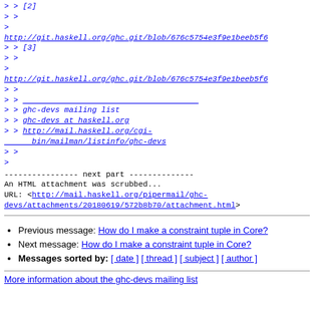> > [2]
> >
>
http://git.haskell.org/ghc.git/blob/676c5754e3f9e1beeb5f6
> > [3]
> >
>
http://git.haskell.org/ghc.git/blob/676c5754e3f9e1beeb5f6
> >
> > ___________________________
> > ghc-devs mailing list
> > ghc-devs at haskell.org
> > http://mail.haskell.org/cgi-bin/mailman/listinfo/ghc-devs
> >
>
---------------- next part --------------
An HTML attachment was scrubbed...
URL: <http://mail.haskell.org/pipermail/ghc-devs/attachments/20180619/572b8b70/attachment.html>
Previous message: How do I make a constraint tuple in Core?
Next message: How do I make a constraint tuple in Core?
Messages sorted by: [ date ] [ thread ] [ subject ] [ author ]
More information about the ghc-devs mailing list